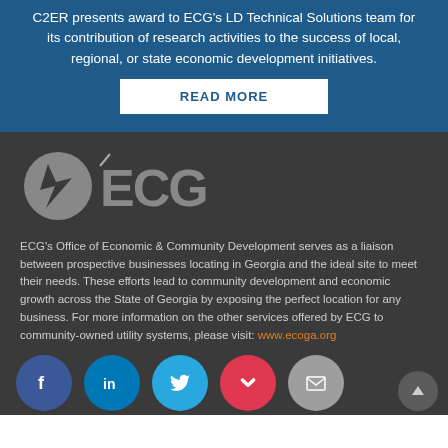C2ER presents award to ECG's LD Technical Solutions team for its contribution of research activities to the success of local, regional, or state economic development initiatives.
READ MORE
[Figure (logo): ECG logo with lightning bolt icon and stylized ECG text in gray on dark background]
ECG's Office of Economic & Community Development serves as a liaison between prospective businesses locating in Georgia and the ideal site to meet their needs. These efforts lead to community development and economic growth across the State of Georgia by exposing the perfect location for any business. For more information on the other services offered by ECG to community-owned utility systems, please visit: www.ecoga.org
[Figure (infographic): Social media icon buttons row: Facebook (blue circle), LinkedIn (blue circle), Twitter (cyan circle), Pocket (red circle), Mail (gray circle). Also an up-arrow scroll button in gray circle.]